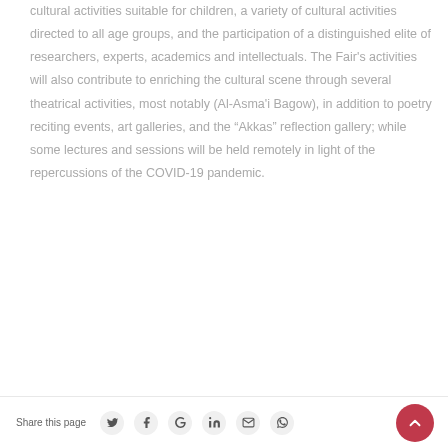cultural activities suitable for children, a variety of cultural activities directed to all age groups, and the participation of a distinguished elite of researchers, experts, academics and intellectuals. The Fair's activities will also contribute to enriching the cultural scene through several theatrical activities, most notably (Al-Asma'i Bagow), in addition to poetry reciting events, art galleries, and the “Akkas” reflection gallery; while some lectures and sessions will be held remotely in light of the repercussions of the COVID-19 pandemic.
Share this page